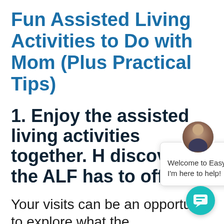Fun Assisted Living Activities to Do with Mom (Plus Practical Tips)
1. Enjoy the assisted living activities together. H discover ev the ALF has to offer.
Your visits can be an opportunity to explore what the
[Figure (screenshot): A chat popup overlay showing a person avatar photo, a close (×) button, and the message 'Welcome to EasyLiving. I'm here to help!' along with a teal circular chat launcher button in the bottom right corner.]